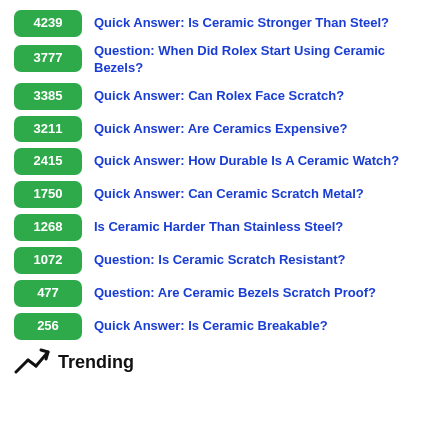4239 Quick Answer: Is Ceramic Stronger Than Steel?
3777 Question: When Did Rolex Start Using Ceramic Bezels?
3385 Quick Answer: Can Rolex Face Scratch?
3211 Quick Answer: Are Ceramics Expensive?
2415 Quick Answer: How Durable Is A Ceramic Watch?
1750 Quick Answer: Can Ceramic Scratch Metal?
1268 Is Ceramic Harder Than Stainless Steel?
1072 Question: Is Ceramic Scratch Resistant?
477 Question: Are Ceramic Bezels Scratch Proof?
256 Quick Answer: Is Ceramic Breakable?
Trending